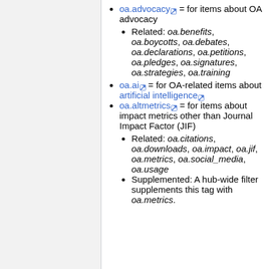oa.advocacy = for items about OA advocacy
Related: oa.benefits, oa.boycotts, oa.debates, oa.declarations, oa.petitions, oa.pledges, oa.signatures, oa.strategies, oa.training
oa.ai = for OA-related items about artificial intelligence
oa.altmetrics = for items about impact metrics other than Journal Impact Factor (JIF)
Related: oa.citations, oa.downloads, oa.impact, oa.jif, oa.metrics, oa.social_media, oa.usage
Supplemented: A hub-wide filter supplements this tag with oa.metrics.